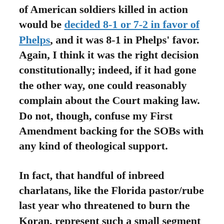of American soldiers killed in action would be decided 8-1 or 7-2 in favor of Phelps, and it was 8-1 in Phelps' favor. Again, I think it was the right decision constitutionally; indeed, if it had gone the other way, one could reasonably complain about the Court making law. Do not, though, confuse my First Amendment backing for the SOBs with any kind of theological support.
In fact, that handful of inbreed charlatans, like the Florida pastor/rube last year who threatened to burn the Koran, represent such a small segment of theological thought that it's painful to come to their defense in any way. Nuance sucks.